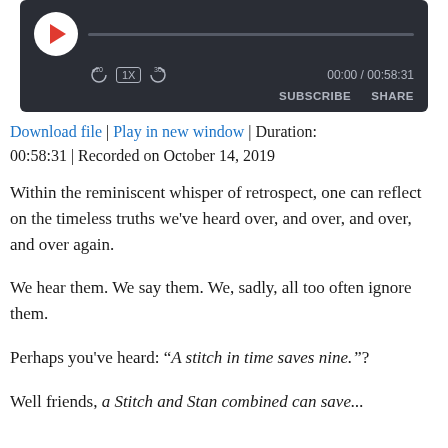[Figure (screenshot): Audio podcast player widget with dark background, play button, progress bar, skip controls (10s back, 1X speed, 30s forward), time display 00:00 / 00:58:31, and SUBSCRIBE / SHARE buttons]
Download file | Play in new window | Duration: 00:58:31 | Recorded on October 14, 2019
Within the reminiscent whisper of retrospect, one can reflect on the timeless truths we've heard over, and over, and over, and over again.
We hear them. We say them. We, sadly, all too often ignore them.
Perhaps you've heard: “A stitch in time saves nine.”?
Well friends, a Stitch and Stan combined can save...